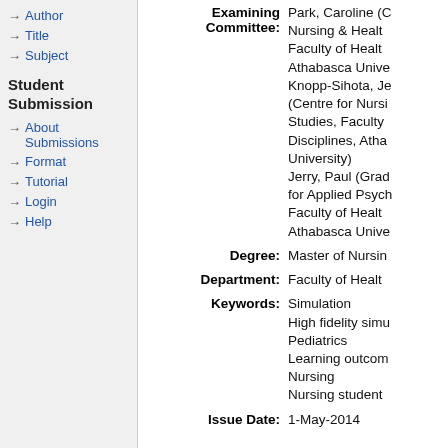Author
Title
Subject
Student Submission
About Submissions
Format
Tutorial
Login
Help
Examining Committee: Park, Caroline (Centre for Nursing & Health Studies, Faculty of Health Disciplines, Athabasca University); Knopp-Sihota, Je... (Centre for Nursing Studies, Faculty of Health Disciplines, Athabasca University); Jerry, Paul (Graduate Programme for Applied Psychology, Faculty of Health Disciplines, Athabasca University)
Degree: Master of Nursing
Department: Faculty of Health
Keywords: Simulation; High fidelity simulation; Pediatrics; Learning outcomes; Nursing; Nursing student
Issue Date: 1-May-2014